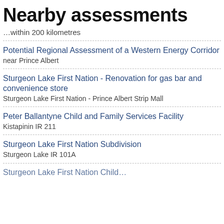Nearby assessments
…within 200 kilometres
Potential Regional Assessment of a Western Energy Corridor
near Prince Albert
Sturgeon Lake First Nation - Renovation for gas bar and convenience store
Sturgeon Lake First Nation - Prince Albert Strip Mall
Peter Ballantyne Child and Family Services Facility
Kistapinin IR 211
Sturgeon Lake First Nation Subdivision
Sturgeon Lake IR 101A
Sturgeon Lake First Nation Child…